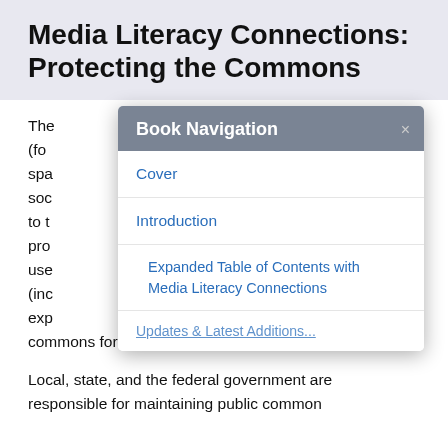Media Literacy Connections: Protecting the Commons
The [text obscured by modal] es (fo[...] open spa[...] s of a soc[...] back to t[...] pro[...] o be use[...] e (inc[...] ) is exp[...] ed commons for current and future use.
[Figure (screenshot): Book Navigation modal dialog overlay showing links: Cover, Introduction, Expanded Table of Contents with Media Literacy Connections, Updates & Latest Additions (partially visible)]
Local, state, and the federal government are responsible for maintaining public common